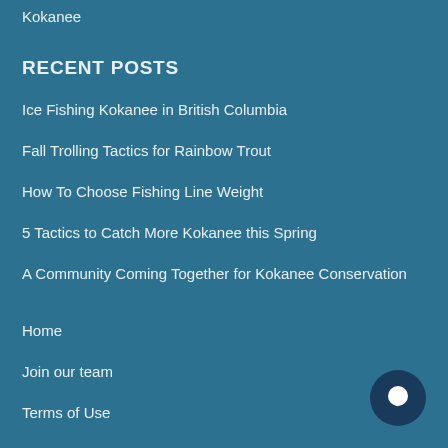Kokanee
RECENT POSTS
Ice Fishing Kokanee in British Columbia
Fall Trolling Tactics for Rainbow Trout
How To Choose Fishing Line Weight
5 Tactics to Catch More Kokanee this Spring
A Community Coming Together for Kokanee Conservation
Home
Join our team
Terms of Use